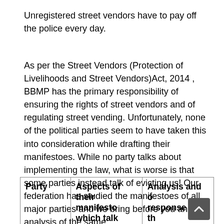Unregistered street vendors have to pay off the police every day.
As per the Street Vendors (Protection of Livelihoods and Street Vendors)Act, 2014 , BBMP has the primary responsibility of ensuring the rights of street vendors and of regulating street vending. Unfortunately, none of the political parties seem to have taken this into consideration while drafting their manifestoes. While no party talks about implementing the law, what is worse is that some parties instead talk of evicting us! Our federation has studied the manifestoes of all major parties and we bring before you an analysis of the same.
| Party | Aspects of their manifesto which talk | Analysis and our response to the same |
| --- | --- | --- |